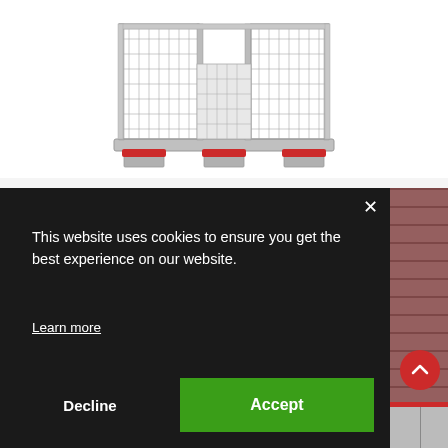[Figure (photo): Metal wire mesh cage pallet with red plastic feet/skids, shown on white background. The cage has a grid/mesh structure, multiple compartments, and is mounted on a pallet base with red runners.]
This website uses cookies to ensure you get the best experience on our website.
Learn more
Decline
Accept
[Figure (photo): Partial view of industrial warehouse or storage facility visible behind and below the cookie consent overlay.]